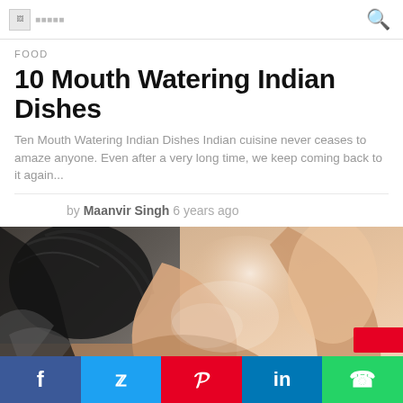Logo / site name header with search icon
FOOD
10 Mouth Watering Indian Dishes
Ten Mouth Watering Indian Dishes Indian cuisine never ceases to amaze anyone. Even after a very long time, we keep coming back to it again...
by Maanvir Singh 6 years ago
[Figure (photo): Woman with eyes closed, arm raised, artistic monochrome and skin-tone composition]
Social share bar: Facebook, Twitter, Pinterest, LinkedIn, WhatsApp